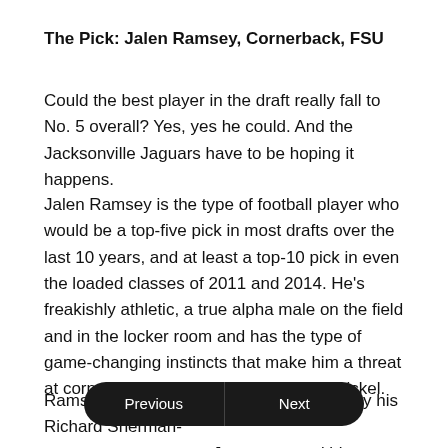The Pick: Jalen Ramsey, Cornerback, FSU
Could the best player in the draft really fall to No. 5 overall? Yes, yes he could. And the Jacksonville Jaguars have to be hoping it happens.
Jalen Ramsey is the type of football player who would be a top-five pick in most drafts over the last 10 years, and at least a top-10 pick in even the loaded classes of 2011 and 2014. He's freakishly athletic, a true alpha male on the field and in the locker room and has the type of game-changing instincts that make him a threat at cornerback, safety or lined up in the nickel.
Ramsey, in Jacksonville, gives Gus Bradley his Richard Sherman-esque … Jaguars spend big to get a pass-rusher in free agency—hello, Olivier